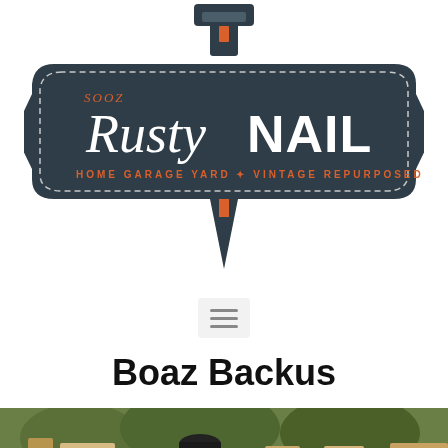[Figure (logo): Sooz Rusty Nail logo — dark navy/teal badge shaped like a nail with a power drill on top. Script text 'Rusty' and bold block text 'NAIL' in white. Tagline in orange: 'HOME GARAGE YARD VINTAGE REPURPOSED SALVAGED'. Small orange text 'SOOZ' in upper left of badge.]
[Figure (other): Hamburger menu button — three horizontal grey lines on a light grey rounded rectangle background.]
Boaz Backus
[Figure (photo): Photograph of a person (wearing a grey t-shirt and dark cap) working with wood in an outdoor workshop setting, with large wooden planks visible.]